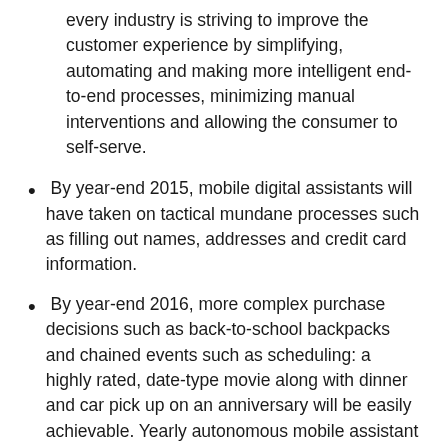every industry is striving to improve the customer experience by simplifying, automating and making more intelligent end-to-end processes, minimizing manual interventions and allowing the consumer to self-serve.
By year-end 2015, mobile digital assistants will have taken on tactical mundane processes such as filling out names, addresses and credit card information.
By year-end 2016, more complex purchase decisions such as back-to-school backpacks and chained events such as scheduling: a highly rated, date-type movie along with dinner and car pick up on an anniversary will be easily achievable. Yearly autonomous mobile assistant